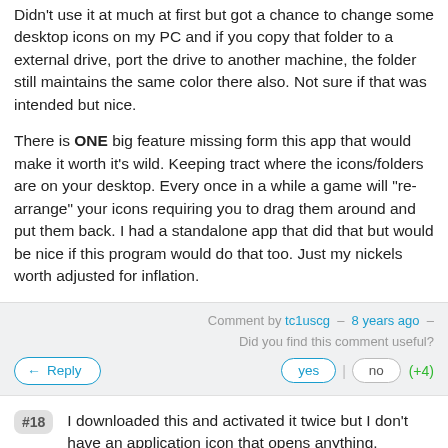Didn't use it at much at first but got a chance to change some desktop icons on my PC and if you copy that folder to a external drive, port the drive to another machine, the folder still maintains the same color there also. Not sure if that was intended but nice.

There is ONE big feature missing form this app that would make it worth it's wild. Keeping tract where the icons/folders are on your desktop. Every once in a while a game will "re-arrange" your icons requiring you to drag them around and put them back. I had a standalone app that did that but would be nice if this program would do that too. Just my nickels worth adjusted for inflation.
Comment by tc1uscg — 8 years ago — Did you find this comment useful? yes | no (+4)
#18 I downloaded this and activated it twice but I don't have an application icon that opens anything. However it also downloaded itself directly to Programs and when I click that icon I get a page that offers a free 10 day trial.